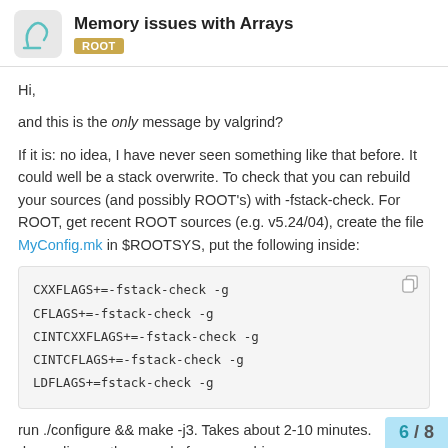Memory issues with Arrays — ROOT
Hi,
and this is the only message by valgrind?
If it is: no idea, I have never seen something like that before. It could well be a stack overwrite. To check that you can rebuild your sources (and possibly ROOT's) with -fstack-check. For ROOT, get recent ROOT sources (e.g. v5.24/04), create the file MyConfig.mk in $ROOTSYS, put the following inside:
CXXFLAGS+=-fstack-check -g
CFLAGS+=-fstack-check -g
CINTCXXFLAGS+=-fstack-check -g
CINTCFLAGS+=-fstack-check -g
LDFLAGS+=fstack-check -g
run ./configure && make -j3. Takes about 2-10 minutes. depending on the speed of your machine.
6 / 8